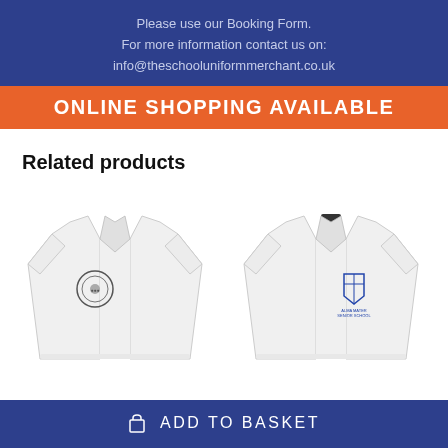Please use our Booking Form.
For more information contact us on:
info@theschooluniformmerchant.co.uk
ONLINE SHOPPING AVAILABLE
Related products
[Figure (photo): White school polo shirt with circular emblem/badge on the left chest]
[Figure (photo): White school polo shirt with blue shield-shaped school logo/crest on the left chest]
ADD TO BASKET